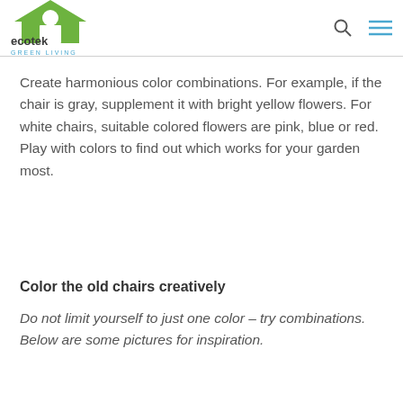ecotek GREEN LIVING
Create harmonious color combinations. For example, if the chair is gray, supplement it with bright yellow flowers. For white chairs, suitable colored flowers are pink, blue or red. Play with colors to find out which works for your garden most.
Color the old chairs creatively
Do not limit yourself to just one color – try combinations. Below are some pictures for inspiration.